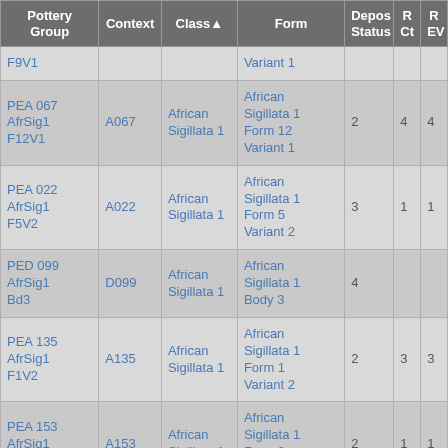| Pottery Group | Context | Class▲ | Form | Depos Status | R Ct | R EV |
| --- | --- | --- | --- | --- | --- | --- |
| F9V1 |  |  | Variant 1 |  |  |  |
| PEA 067 AfrSig1 F12V1 | A067 | African Sigillata 1 | African Sigillata 1 Form 12 Variant 1 | 2 | 4 | 4 |
| PEA 022 AfrSig1 F5V2 | A022 | African Sigillata 1 | African Sigillata 1 Form 5 Variant 2 | 3 | 1 | 1 |
| PED 099 AfrSig1 Bd3 | D099 | African Sigillata 1 | African Sigillata 1 Body 3 | 4 |  |  |
| PEA 135 AfrSig1 F1V2 | A135 | African Sigillata 1 | African Sigillata 1 Form 1 Variant 2 | 2 | 3 | 3 |
| PEA 153 AfrSig1 F9V1 | A153 | African Sigillata 1 | African Sigillata 1 Form 9 Variant 1 | 2 | 1 | 1 |